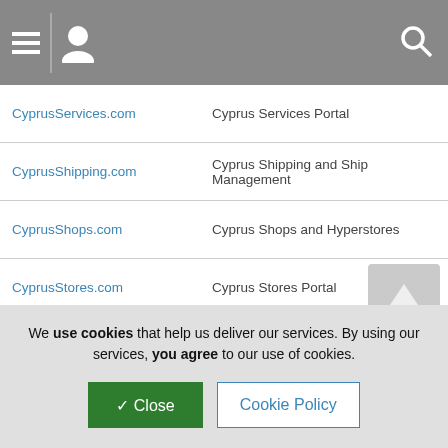Navigation bar with menu, user, and search icons
| Domain | Description |
| --- | --- |
| CyprusServices.com | Cyprus Services Portal |
| CyprusShipping.com | Cyprus Shipping and Ship Management |
| CyprusShops.com | Cyprus Shops and Hyperstores |
| CyprusStores.com | Cyprus Stores Portal |
| CyprusTourist.com | Cyprus Tourist Information and Activities |
| CyprusTravelAgencies.com | Cyprus Travel Agencies and Travel Guide |
| Cyprus-TV.com | Cyprus Television Guide |
| Cyprus-Weather.com | Cyprus Weather Information and Forecasts |
| CyprusWebDesigners.com | Cyprus Web Designers and Developers |
We use cookies that help us deliver our services. By using our services, you agree to our use of cookies.
✓ Close | Cookie Policy